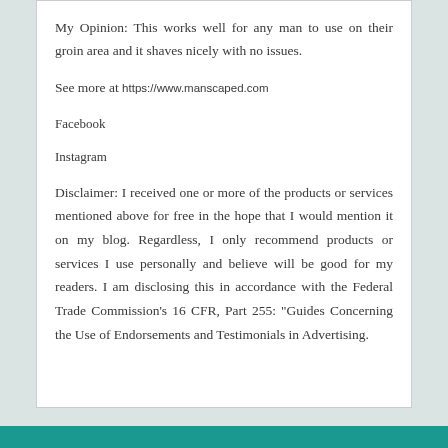My Opinion: This works well for any man to use on their groin area and it shaves nicely with no issues.
See more at https://www.manscaped.com
Facebook
Instagram
Disclaimer: I received one or more of the products or services mentioned above for free in the hope that I would mention it on my blog. Regardless, I only recommend products or services I use personally and believe will be good for my readers. I am disclosing this in accordance with the Federal Trade Commission's 16 CFR, Part 255: "Guides Concerning the Use of Endorsements and Testimonials in Advertising.